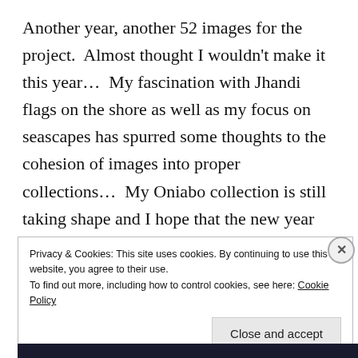Another year, another 52 images for the project.  Almost thought I wouldn't make it this year…  My fascination with Jhandi flags on the shore as well as my focus on seascapes has spurred some thoughts to the cohesion of images into proper collections…  My Oniabo collection is still taking shape and I hope that the new year will bear fruit in similar manner.

The last photo of the year exhibits the theme nicely, in colour, so it would not be a part of my Oniabo
Privacy & Cookies: This site uses cookies. By continuing to use this website, you agree to their use.
To find out more, including how to control cookies, see here: Cookie Policy

Close and accept